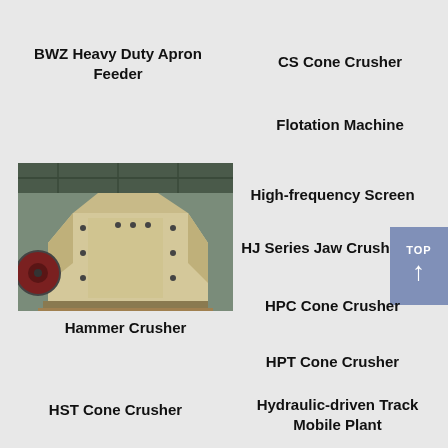BWZ Heavy Duty Apron Feeder
CS Cone Crusher
Flotation Machine
[Figure (photo): Industrial hammer crusher machine, cream/beige colored, photographed inside a factory building. Large mechanical crusher with flywheel visible on left side.]
High-frequency Screen
HJ Series Jaw Crusher
HPC Cone Crusher
Hammer Crusher
HPT Cone Crusher
HST Cone Crusher
Hydraulic-driven Track Mobile Plant